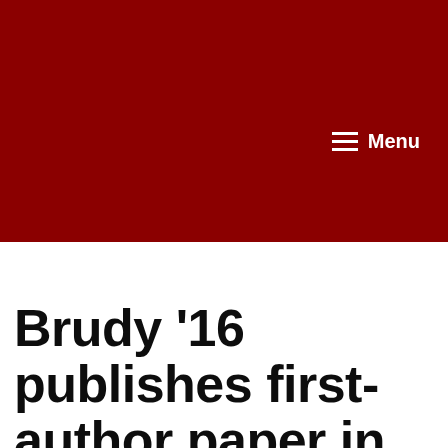[Figure (other): Dark red/crimson navigation header banner with hamburger menu icon and 'Menu' label in white text on the right side]
Brudy '16 publishes first-author paper in Ph.D. program